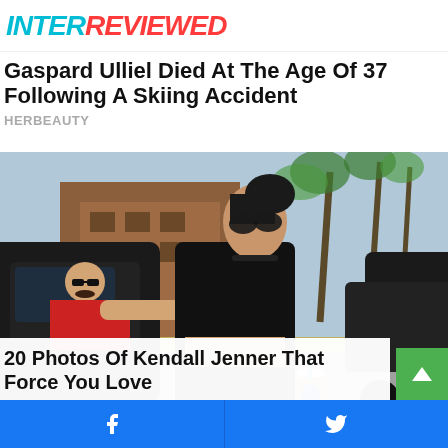INTERREVIEWED
Gaspard Ulliel Died At The Age Of 37 Following A Skiing Accident
HERBEAUTY
[Figure (photo): A woman in black outfit and sunglasses walking on a street, holding a drink cup. A man in red top leans out of a car window reaching toward her. Palm trees and buildings visible in background.]
20 Photos Of Kendall Jenner That Force You Love
Facebook share | Twitter share